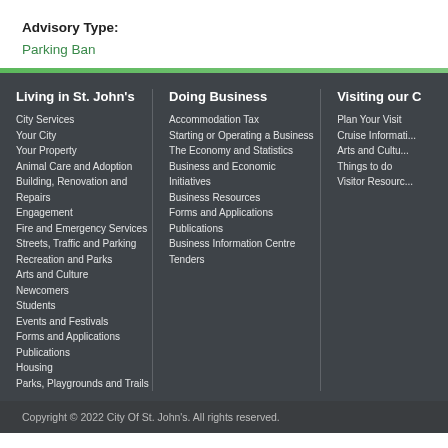Advisory Type:
Parking Ban
Living in St. John's
City Services
Your City
Your Property
Animal Care and Adoption
Building, Renovation and Repairs
Engagement
Fire and Emergency Services
Streets, Traffic and Parking
Recreation and Parks
Arts and Culture
Newcomers
Students
Events and Festivals
Forms and Applications
Publications
Housing
Parks, Playgrounds and Trails
Doing Business
Accommodation Tax
Starting or Operating a Business
The Economy and Statistics
Business and Economic Initiatives
Business Resources
Forms and Applications
Publications
Business Information Centre
Tenders
Visiting our C
Plan Your Visit
Cruise Information
Arts and Culture
Things to do
Visitor Resources
Copyright © 2022 City Of St. John's. All rights reserved.